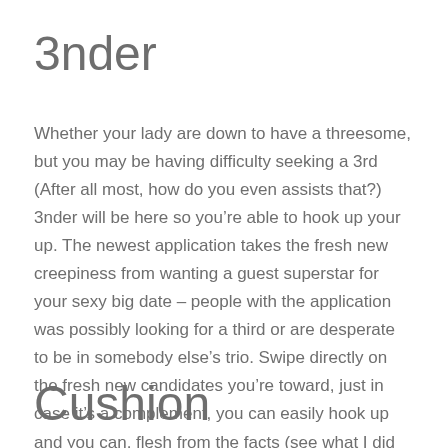3nder
Whether your lady are down to have a threesome, but you may be having difficulty seeking a 3rd (After all most, how do you even assists that?) 3nder will be here so you’re able to hook up your up. The newest application takes the fresh new creepiness from wanting a guest superstar for your sexy big date – people with the application was possibly looking for a third or are desperate to be in somebody else’s trio. Swipe directly on the fresh new candidates you’re toward, just in case it’s a complement, you can easily hook up and you can. flesh from the facts (see what I did truth be told there?).
Cushion